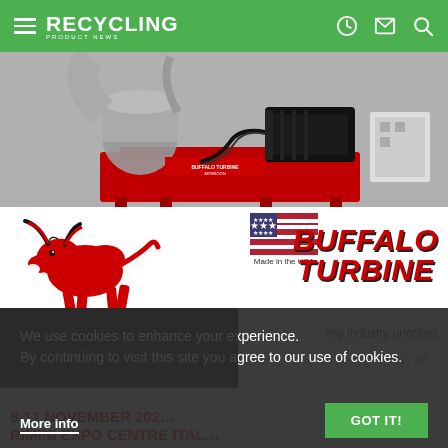RECYCLING PRODUCT NEWS
[Figure (photo): Buffalo Turbine Monsoon industrial machine (red) with motor and ductwork, photographed against a grey background. Below the machine photo is the Buffalo Turbine brand logo featuring a red charging bull, a US flag with 'Made in the USA' text, and the bold italic red text 'BUFFALO TURBINE'.]
We use cookies to enhance your experience. By continuing to visit this site you agree to our use of cookies.
More info
GOT IT!
ling industry priorities
August 16, 2022
8-11 NOVEMBER 2022 RIMINI EXPO CENTRE ITALY